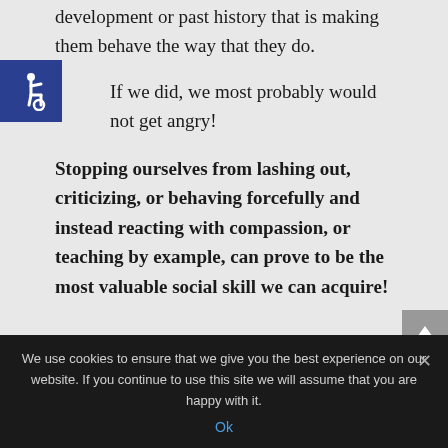development or past history that is making them behave the way that they do.
If we did, we most probably would not get angry!
Stopping ourselves from lashing out, criticizing, or behaving forcefully and instead reacting with compassion, or teaching by example, can prove to be the most valuable social skill we can acquire!
[Figure (other): Accessibility icon - white wheelchair symbol on dark blue square background]
[Figure (other): Scroll to top button - upward chevron arrow on grey background]
We use cookies to ensure that we give you the best experience on our website. If you continue to use this site we will assume that you are happy with it.
Ok